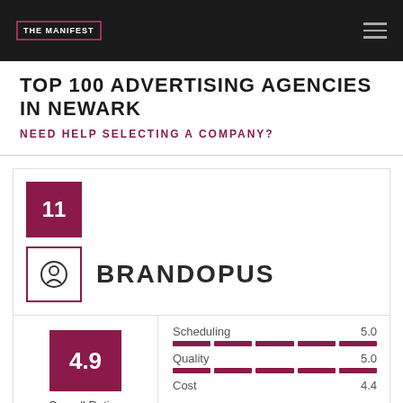THE MANIFEST
TOP 100 ADVERTISING AGENCIES IN NEWARK
NEED HELP SELECTING A COMPANY?
11
BRANDOPUS
| Metric | Score |
| --- | --- |
| Scheduling | 5.0 |
| Quality | 5.0 |
| Cost | 4.4 |
4.9 Overall Rating